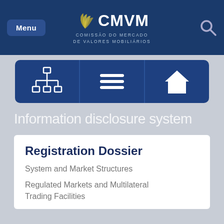[Figure (screenshot): CMVM website header with Menu button, CMVM logo (Comissão do Mercado de Valores Mobiliários), and search icon on dark blue background]
[Figure (infographic): Navigation icon strip with three sections: network/hierarchy icon, hamburger menu icon, and house/home icon, on dark blue rounded rectangle]
Information disclosure system
Registration Dossier
System and Market Structures
Regulated Markets and Multilateral Trading Facilities